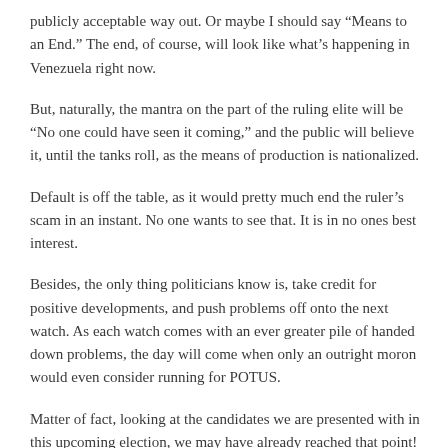publicly acceptable way out. Or maybe I should say “Means to an End.” The end, of course, will look like what’s happening in Venezuela right now.
But, naturally, the mantra on the part of the ruling elite will be “No one could have seen it coming,” and the public will believe it, until the tanks roll, as the means of production is nationalized.
Default is off the table, as it would pretty much end the ruler’s scam in an instant. No one wants to see that. It is in no ones best interest.
Besides, the only thing politicians know is, take credit for positive developments, and push problems off onto the next watch. As each watch comes with an ever greater pile of handed down problems, the day will come when only an outright moron would even consider running for POTUS.
Matter of fact, looking at the candidates we are presented with in this upcoming election, we may have already reached that point!
★  Loading...
REPLY